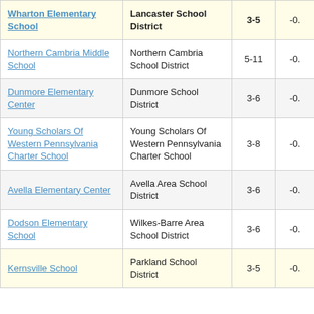| School | District | Grades | Score |
| --- | --- | --- | --- |
| Wharton Elementary School | Lancaster School District | 3-5 | -0. |
| Northern Cambria Middle School | Northern Cambria School District | 5-11 | -0. |
| Dunmore Elementary Center | Dunmore School District | 3-6 | -0. |
| Young Scholars Of Western Pennsylvania Charter School | Young Scholars Of Western Pennsylvania Charter School | 3-8 | -0. |
| Avella Elementary Center | Avella Area School District | 3-6 | -0. |
| Dodson Elementary School | Wilkes-Barre Area School District | 3-6 | -0. |
| Kernsville School | Parkland School District | 3-5 | -0. |